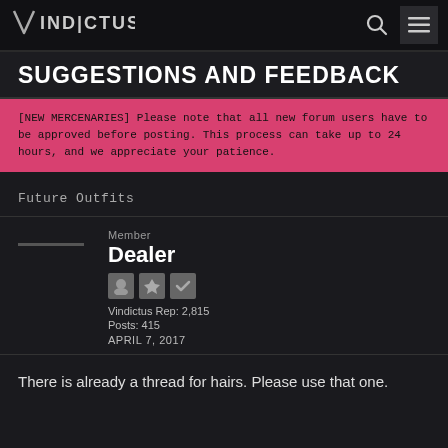VINDICTUS
SUGGESTIONS AND FEEDBACK
[NEW MERCENARIES] Please note that all new forum users have to be approved before posting. This process can take up to 24 hours, and we appreciate your patience.
Future Outfits
Member
Dealer
Vindictus Rep: 2,815
Posts: 415
APRIL 7, 2017
There is already a thread for hairs. Please use that one.